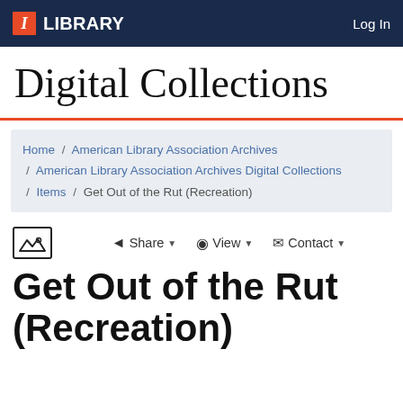I LIBRARY  Log In
Digital Collections
Home / American Library Association Archives / American Library Association Archives Digital Collections / Items / Get Out of the Rut (Recreation)
Share ▾  View ▾  Contact ▾
Get Out of the Rut (Recreation)